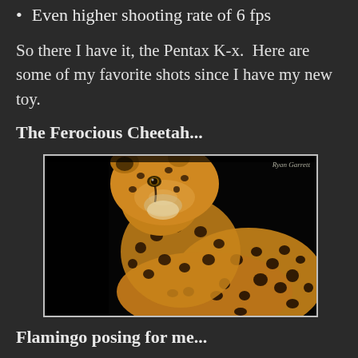Even higher shooting rate of 6 fps
So there I have it, the Pentax K-x.  Here are some of my favorite shots since I have my new toy.
The Ferocious Cheetah...
[Figure (photo): Close-up photograph of a cheetah, head and upper body visible, looking to the left, against a black background. Watermark reads 'Ryan Garrett' in top right corner.]
Flamingo posing for me...